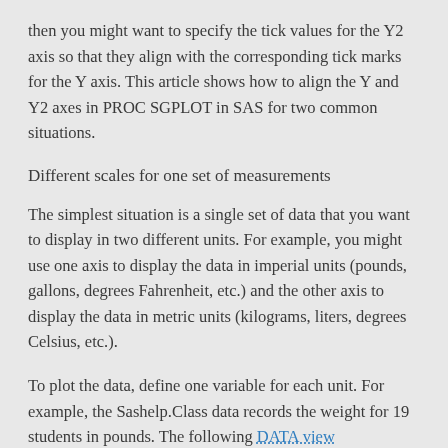then you might want to specify the tick values for the Y2 axis so that they align with the corresponding tick marks for the Y axis. This article shows how to align the Y and Y2 axes in PROC SGPLOT in SAS for two common situations.
Different scales for one set of measurements
The simplest situation is a single set of data that you want to display in two different units. For example, you might use one axis to display the data in imperial units (pounds, gallons, degrees Fahrenheit, etc.) and the other axis to display the data in metric units (kilograms, liters, degrees Celsius, etc.).
To plot the data, define one variable for each unit. For example, the Sashelp.Class data records the weight for 19 students in pounds. The following DATA view